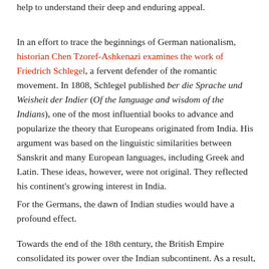help to understand their deep and enduring appeal.
In an effort to trace the beginnings of German nationalism, historian Chen Tzoref-Ashkenazi examines the work of Friedrich Schlegel, a fervent defender of the romantic movement. In 1808, Schlegel published ber die Sprache und Weisheit der Indier (Of the language and wisdom of the Indians), one of the most influential books to advance and popularize the theory that Europeans originated from India. His argument was based on the linguistic similarities between Sanskrit and many European languages, including Greek and Latin. These ideas, however, were not original. They reflected his continent's growing interest in India.
For the Germans, the dawn of Indian studies would have a profound effect.
Towards the end of the 18th century, the British Empire consolidated its power over the Indian subcontinent. As a result, European journals and organizations dedicated to collecting